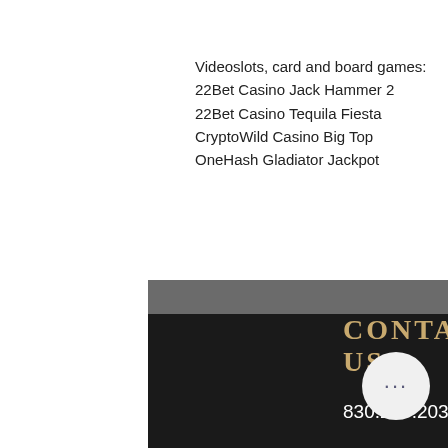Videoslots, card and board games:
22Bet Casino Jack Hammer 2
22Bet Casino Tequila Fiesta
CryptoWild Casino Big Top
OneHash Gladiator Jackpot
https://www.rikuzentakata-iwai.com/profile/gudinoloyerw/profile
https://www.chelseabednardesign.com/profile/sherbodeanda3/profile
https://www.timetoshineministries.org/profile/cabamcreecym/profile
https://www.acreditaremsi.com/profile/tovesprchald/profile
CONTACT US
830.237.2038